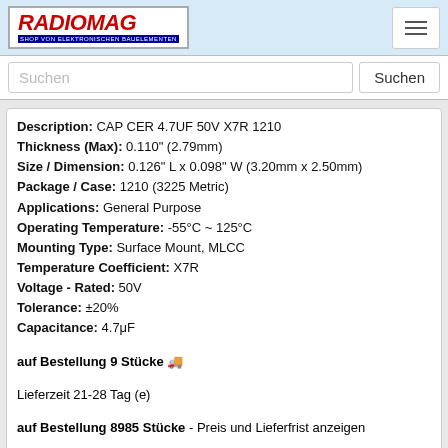[Figure (logo): Radiomag logo - red italic text on white background with subtitle 'SHOP VON ELEKTRONISCHEN BAUELEMENTEN']
Suchen
Description: CAP CER 4.7UF 50V X7R 1210
Thickness (Max): 0.110" (2.79mm)
Size / Dimension: 0.126" L x 0.098" W (3.20mm x 2.50mm)
Package / Case: 1210 (3225 Metric)
Applications: General Purpose
Operating Temperature: -55°C ~ 125°C
Mounting Type: Surface Mount, MLCC
Temperature Coefficient: X7R
Voltage - Rated: 50V
Tolerance: ±20%
Capacitance: 4.7μF
auf Bestellung 9 Stücke 🚚
Lieferzeit 21-28 Tag (e)
auf Bestellung 8985 Stücke - Preis und Lieferfrist anzeigen
1210ZC335KAT2A
1210ZC335KAT2A